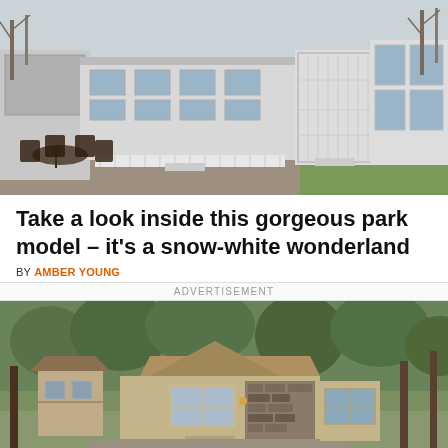[Figure (photo): Exterior of a white park model mobile home with screened porch and patio furniture, surrounded by gravel and green grass]
Take a look inside this gorgeous park model – it's a snow-white wonderland
BY AMBER YOUNG
ADVERTISEMENT
[Figure (photo): Exterior of a brown/tan manufactured home with stone accents, gazebo, and trees in background]